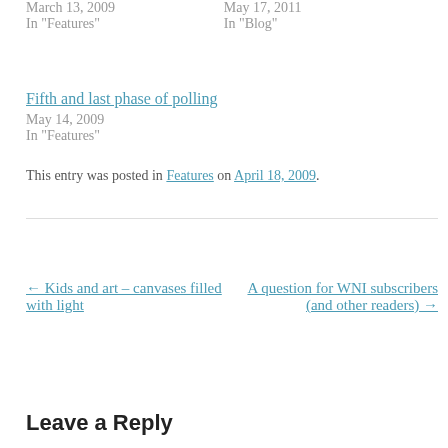March 13, 2009
In "Features"
May 17, 2011
In "Blog"
Fifth and last phase of polling
May 14, 2009
In "Features"
This entry was posted in Features on April 18, 2009.
← Kids and art – canvases filled with light
A question for WNI subscribers (and other readers) →
Leave a Reply